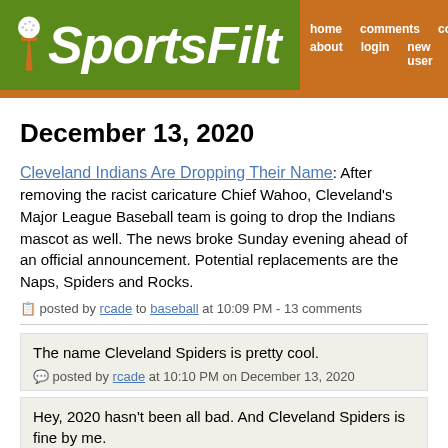SportsFilt — 02:51 PM 08/20/22 — home about comments login columns new user
December 13, 2020
Cleveland Indians Are Dropping Their Name: After removing the racist caricature Chief Wahoo, Cleveland's Major League Baseball team is going to drop the Indians mascot as well. The news broke Sunday evening ahead of an official announcement. Potential replacements are the Naps, Spiders and Rocks.
posted by rcade to baseball at 10:09 PM - 13 comments
The name Cleveland Spiders is pretty cool.
posted by rcade at 10:10 PM on December 13, 2020
Hey, 2020 hasn't been all bad. And Cleveland Spiders is fine by me.
posted by bender at 10:40 PM on December 13, 2020
I'd buy a Spiders cap.